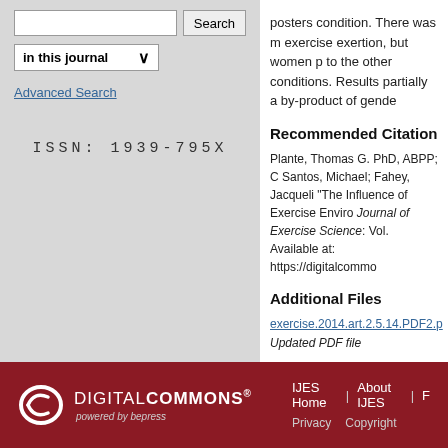[Figure (screenshot): Search bar with Search button and 'in this journal' dropdown selector]
Advanced Search
ISSN: 1939-795X
posters condition. There was m exercise exertion, but women p to the other conditions. Results partially a by-product of gende
Recommended Citation
Plante, Thomas G. PhD, ABPP; C Santos, Michael; Fahey, Jacqueli "The Influence of Exercise Enviro Journal of Exercise Science: Vol. Available at: https://digitalcommo
Additional Files
exercise.2014.art.2.5.14.PDF2.p
Updated PDF file
DIGITAL COMMONS powered by bepress | IJES Home | About IJES | F | Privacy | Copyright